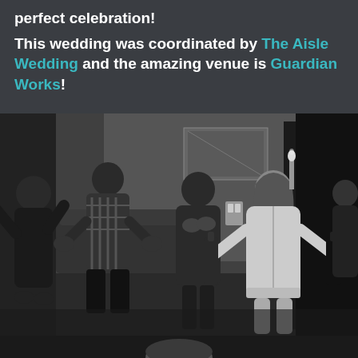perfect celebration! This wedding was coordinated by The Aisle Wedding and the amazing venue is Guardian Works!
[Figure (photo): Black and white photograph of a group of women in robes and casual clothes celebrating and clapping, with a woman in a white lace robe holding champagne bottles entering a room while others cheer.]
[Figure (photo): Partial view of a person's head at the very bottom of the page, cropped.]